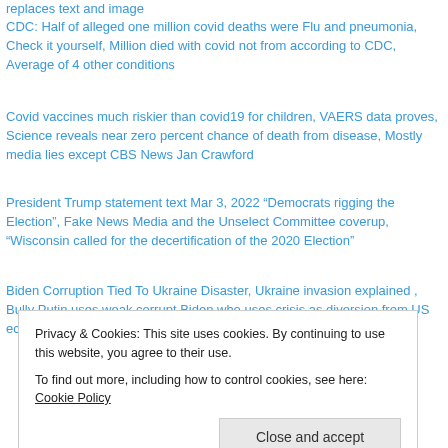replaces text and image
CDC:  Half of alleged one million covid deaths were Flu and pneumonia, Check it yourself, Million died with covid not from according to CDC, Average of 4 other conditions
Covid vaccines much riskier than covid19 for children, VAERS data proves, Science reveals near zero percent chance of death from disease, Mostly media lies except CBS News Jan Crawford
President Trump statement text Mar 3, 2022  “Democrats rigging the Election”, Fake News Media and the Unselect Committee coverup, “Wisconsin called for the decertification of the 2020 Election”
Biden Corruption Tied To Ukraine Disaster, Ukraine invasion explained , Bully Putin uses weak corrupt Biden who uses crisis as diversion from US economy and forum to talk tough
Privacy & Cookies: This site uses cookies. By continuing to use this website, you agree to their use.
To find out more, including how to control cookies, see here: Cookie Policy